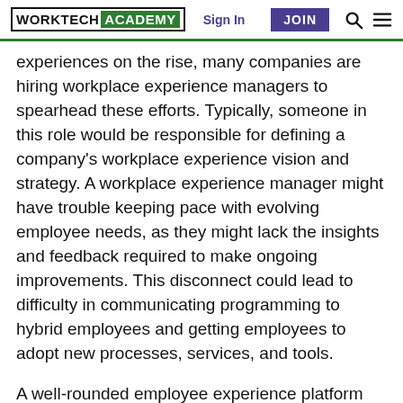WORKTECH ACADEMY | Sign In | JOIN
experiences on the rise, many companies are hiring workplace experience managers to spearhead these efforts. Typically, someone in this role would be responsible for defining a company's workplace experience vision and strategy. A workplace experience manager might have trouble keeping pace with evolving employee needs, as they might lack the insights and feedback required to make ongoing improvements. This disconnect could lead to difficulty in communicating programming to hybrid employees and getting employees to adopt new processes, services, and tools.
A well-rounded employee experience platform can provide a single app for employees to manage their workplace experience. This same app can also host content and events; facilitate desk, conference room, and parking booking; and collect meaningful insights on employee